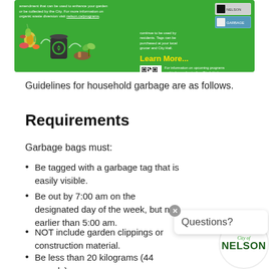[Figure (infographic): Green banner showing organic waste/composting infographic with recycling icons, food scraps, compost bin, and plant imagery on the left; on the right, text about garbage tags being purchased at local grocer and City Hall, a 'Learn More...' section with QR code and reference to nelson.ca/programs.]
Guidelines for household garbage are as follows.
Requirements
Garbage bags must:
Be tagged with a garbage tag that is easily visible.
Be out by 7:00 am on the designated day of the week, but no earlier than 5:00 am.
NOT include garden clippings or construction material.
Be less than 20 kilograms (44 pounds)
[Figure (logo): City of Nelson circular logo with green text]
How